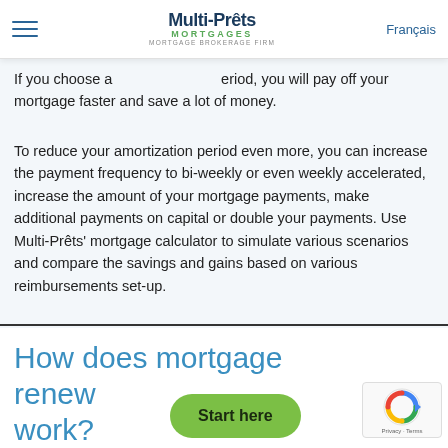Multi-Prêts Mortgages — Mortgage Brokerage Firm | Français
If you choose a shorter amortization period, you will pay off your mortgage faster and save a lot of money.
To reduce your amortization period even more, you can increase the payment frequency to bi-weekly or even weekly accelerated, increase the amount of your mortgage payments, make additional payments on capital or double your payments. Use Multi-Prêts' mortgage calculator to simulate various scenarios and compare the savings and gains based on various reimbursements set-up.
How does mortgage renewal work?